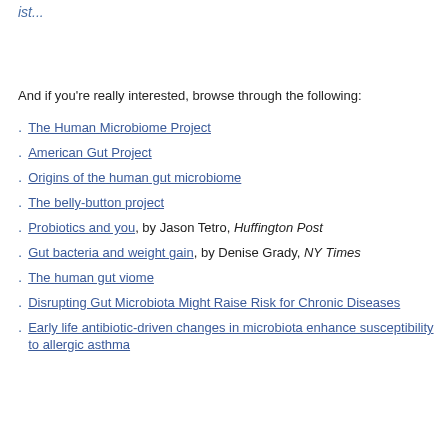ist...
And if you're really interested, browse through the following:
The Human Microbiome Project
American Gut Project
Origins of the human gut microbiome
The belly-button project
Probiotics and you, by Jason Tetro, Huffington Post
Gut bacteria and weight gain, by Denise Grady, NY Times
The human gut viome
Disrupting Gut Microbiota Might Raise Risk for Chronic Diseases
Early life antibiotic-driven changes in microbiota enhance susceptibility to allergic asthma